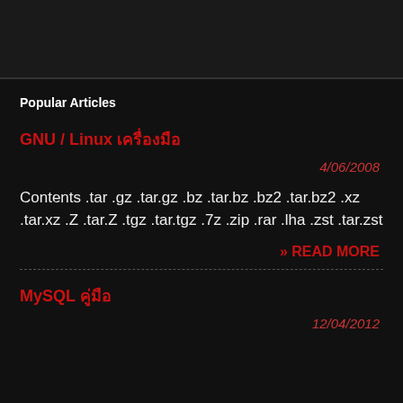Popular Articles
GNU / Linux เครื่องมือ
4/06/2008
Contents .tar .gz .tar.gz .bz .tar.bz .bz2 .tar.bz2 .xz .tar.xz .Z .tar.Z .tgz .tar.tgz .7z .zip .rar .lha .zst .tar.zst
» READ MORE
MySQL คู่มือ
12/04/2012